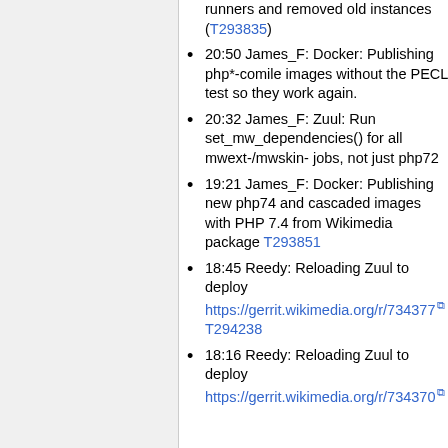runners and removed old instances (T293835)
20:50 James_F: Docker: Publishing php*-comile images without the PECL test so they work again.
20:32 James_F: Zuul: Run set_mw_dependencies() for all mwext-/mwskin- jobs, not just php72
19:21 James_F: Docker: Publishing new php74 and cascaded images with PHP 7.4 from Wikimedia package T293851
18:45 Reedy: Reloading Zuul to deploy https://gerrit.wikimedia.org/r/734377 T294238
18:16 Reedy: Reloading Zuul to deploy https://gerrit.wikimedia.org/r/734370